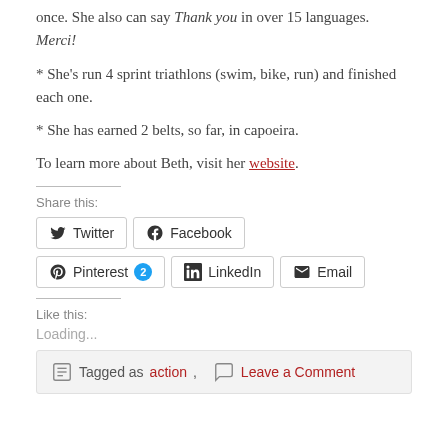once. She also can say Thank you in over 15 languages. Merci!
* She's run 4 sprint triathlons (swim, bike, run) and finished each one.
* She has earned 2 belts, so far, in capoeira.
To learn more about Beth, visit her website.
Share this:
Twitter  Facebook  Pinterest 2  LinkedIn  Email
Like this:
Loading...
Tagged as action,   Leave a Comment